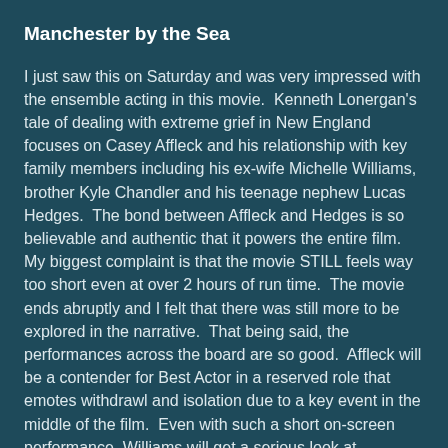Manchester by the Sea
I just saw this on Saturday and was very impressed with the ensemble acting in this movie.  Kenneth Lonergan's tale of dealing with extreme grief in New England focuses on Casey Affleck and his relationship with key family members including his ex-wife Michelle Williams, brother Kyle Chandler and his teenage nephew Lucas Hedges.  The bond between Affleck and Hedges is so believable and authentic that it powers the entire film.  My biggest complaint is that the movie STILL feels way too short even at over 2 hours of run time.  The movie ends abruptly and I felt that there was still more to be explored in the narrative.  That being said, the performances across the board are so good.  Affleck will be a contender for Best Actor in a reserved role that emotes withdrawl and isolation due to a key event in the middle of the film.  Even with such a short on-screen performance, Williams will get a serious look at Supporting Actress simply because of one key scene (a win for Michelle would be similar to Anne Hathaway's win for Les Miserables).  I REALLY hope that Hughes gets some real